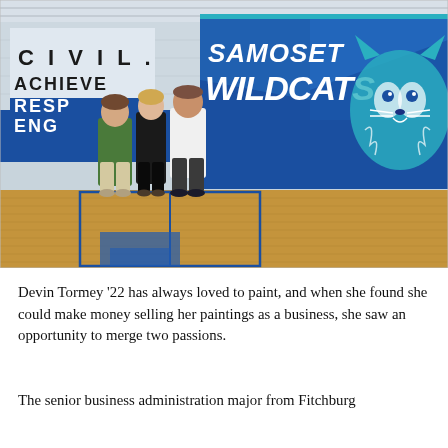[Figure (photo): Three people standing in a school gymnasium, posing in front of two murals. On the left wall is a mosaic/painted mural with the word 'CIVIL ACHIEVE RESP ENG' in block letters. On the right wall is a large painted mural reading 'SAMOSET WILDCATS' with a wildcat mascot in blue, teal, and white. The gym floor is wood with blue court markings.]
Devin Tormey '22 has always loved to paint, and when she found she could make money selling her paintings as a business, she saw an opportunity to merge two passions.
The senior business administration major from Fitchburg